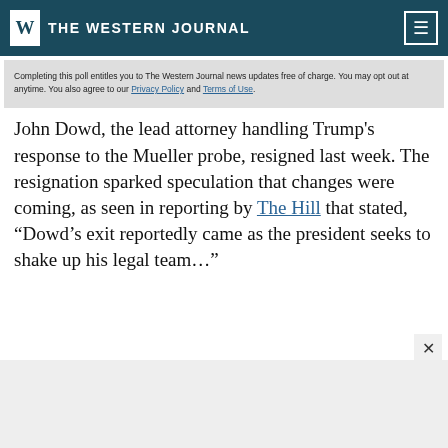THE WESTERN JOURNAL
Completing this poll entitles you to The Western Journal news updates free of charge. You may opt out at anytime. You also agree to our Privacy Policy and Terms of Use.
John Dowd, the lead attorney handling Trump’s response to the Mueller probe, resigned last week. The resignation sparked speculation that changes were coming, as seen in reporting by The Hill that stated, “Dowd’s exit reportedly came as the president seeks to shake up his legal team…”